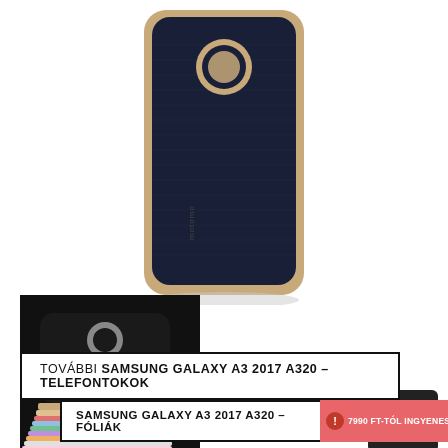[Figure (photo): Phone case (Motomo brand) dark navy/black with gold trim, single case shown vertically centered, white background]
[Figure (photo): Stack of phone cases in multiple colors (black, gold, pink, blue, green, etc.) on dark background, thumbnail]
[Figure (illustration): Phone/smartphone icon in white on dark square background]
TOVÁBBI SAMSUNG GALAXY A3 2017 A320 – TELEFONTOKOK
SAMSUNG GALAXY A3 2017 A320 – FÓLIÁK
7990 FT-TÓL INGYENES SZÁLLÍTÁS